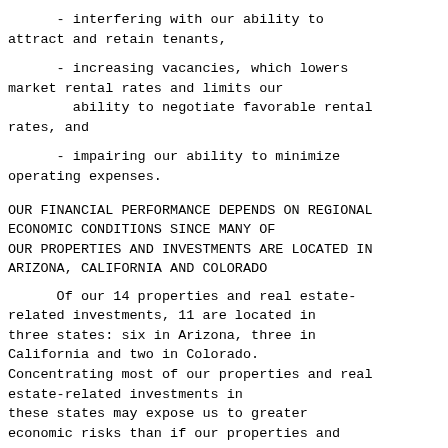- interfering with our ability to attract and retain tenants,
- increasing vacancies, which lowers market rental rates and limits our ability to negotiate favorable rental rates, and
- impairing our ability to minimize operating expenses.
OUR FINANCIAL PERFORMANCE DEPENDS ON REGIONAL ECONOMIC CONDITIONS SINCE MANY OF OUR PROPERTIES AND INVESTMENTS ARE LOCATED IN ARIZONA, CALIFORNIA AND COLORADO
Of our 14 properties and real estate-related investments, 11 are located in three states: six in Arizona, three in California and two in Colorado. Concentrating most of our properties and real estate-related investments in these states may expose us to greater economic risks than if our properties and